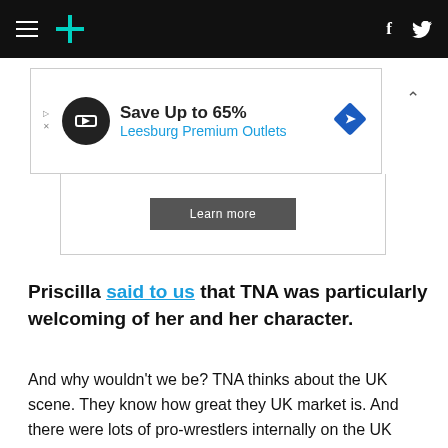HuffPost navigation with hamburger menu, logo, facebook and twitter icons
[Figure (other): Advertisement banner: Save Up to 65% Leesburg Premium Outlets with logo circle and diamond icon]
[Figure (other): Learn more button in a bordered box]
Priscilla said to us that TNA was particularly welcoming of her and her character.
And why wouldn't we be? TNA thinks about the UK scene. They know how great they UK market is. And there were lots of pro-wrestlers internally on the UK scene that were saying "oh they're just going to do this, they're just going to do that" but what good would it do TNA if it buried the UK